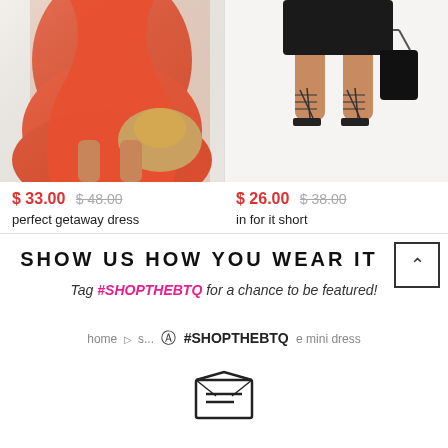[Figure (photo): Fashion product photo: model wearing red/coral tiered mini dress holding straw hat, cropped to lower body]
[Figure (photo): Fashion product photo: model wearing black shorts with black strappy heels and black purse, cropped to lower body]
$ 33.00  $ 48.00
$ 26.00  $ 38.00
perfect getaway dress
in for it short
SHOW US HOW YOU WEAR IT
Tag #SHOPTHEBTQ for a chance to be featured!
home  ▶  s...  ⊙  #SHOPTHEBTQ  e mini dress
[Figure (illustration): Email envelope icon]